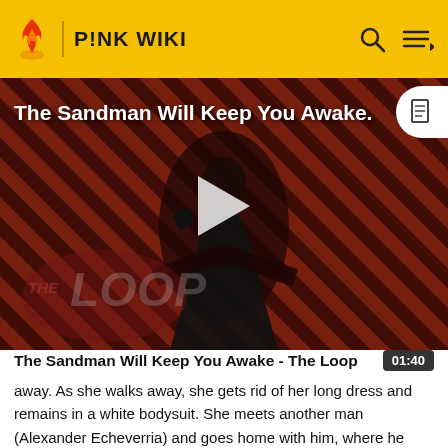P!NK WIKI
[Figure (screenshot): Video thumbnail showing a dark-cloaked figure (Sandman) against a red and black diagonal stripe background with 'THE LOOP' watermark. A play button is overlaid in the center. The title 'The Sandman Will Keep You Awake.' appears in white text top-left.]
The Sandman Will Keep You Awake - The Loop
away. As she walks away, she gets rid of her long dress and remains in a white bodysuit. She meets another man (Alexander Echeverria) and goes home with him, where he assists her. A party is about to begin. Pink watches...